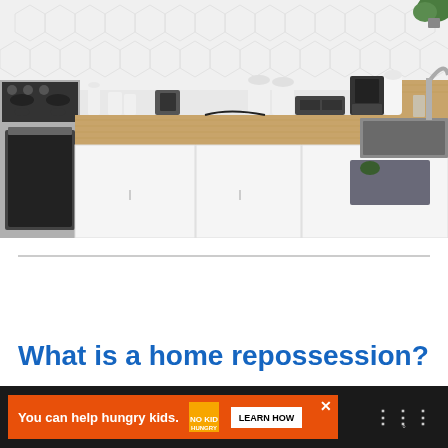[Figure (photo): Modern kitchen with white cabinets, wooden butcher block countertops, stainless steel stove on the left, coffee maker, paper towel roll, kitchen sink on the right, and hexagonal white tile backsplash.]
What is a home repossession?
[Figure (other): Advertisement banner: orange background with text 'You can help hungry kids.' No Kid Hungry logo and a 'LEARN HOW' button on white background. Close X button. Dark bar background with menu icon.]